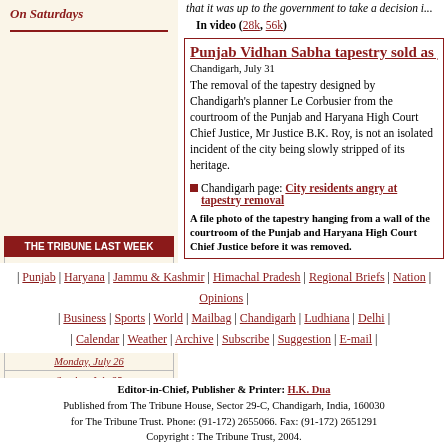that it was up to the government to take a decision i...
In video (28k, 56k)
On Saturdays
Punjab Vidhan Sabha tapestry sold as j...
Chandigarh, July 31
The removal of the tapestry designed by Chandigarh's planner Le Corbusier from the courtroom of the Punjab and Haryana High Court Chief Justice, Mr Justice B.K. Roy, is not an isolated incident of the city being slowly stripped of its heritage.
Chandigarh page: City residents angry at tapestery removal
A file photo of the tapestry hanging from a wall of the courtroom of the Punjab and Haryana High Court Chief Justice before it was removed.
| THE TRIBUNE LAST WEEK |
| --- |
| Saturday, July 31 |
| Friday, July 30 |
| Thursday, July 29 |
| Wednesday, July 28 |
| Tuesday, July 27 |
| Monday, July 26 |
| Sunday, July 25 |
| Punjab | Haryana | Jammu & Kashmir | Himachal Pradesh | Regional Briefs | Nation | Opinions |
| Business | Sports | World | Mailbag | Chandigarh | Ludhiana | Delhi |
| Calendar | Weather | Archive | Subscribe | Suggestion | E-mail |
Editor-in-Chief, Publisher & Printer: H.K. Dua
Published from The Tribune House, Sector 29-C, Chandigarh, India, 160030
for The Tribune Trust. Phone: (91-172) 2655066. Fax: (91-172) 2651291
Copyright : The Tribune Trust, 2004.